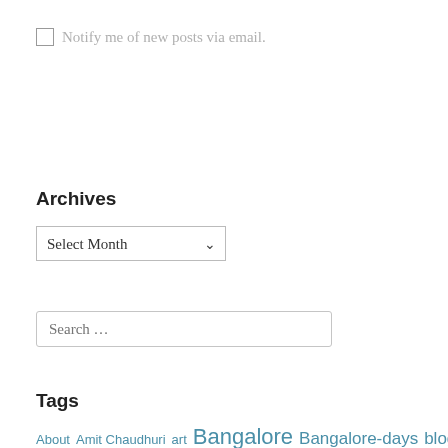Notify me of new posts via email.
Archives
Select Month
Search ...
Tags
About Amit Chaudhuri art Bangalore Bangalore-days blog-